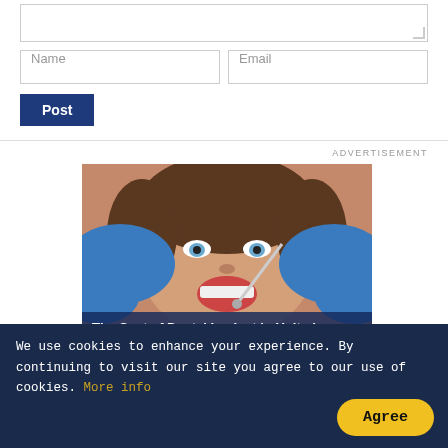[Figure (screenshot): Web form with textarea, Name and Email input fields, and a dark blue Post button]
ADVERTISEMENT
[Figure (photo): A young woman lying in a dental chair with her mouth open, a dentist wearing blue gloves examining her teeth with dental tools. Overlay text reads: The Cost of Dental Implant in United States Might Surprise You]
We use cookies to enhance your experience. By continuing to visit our site you agree to our use of cookies. More info
Agree